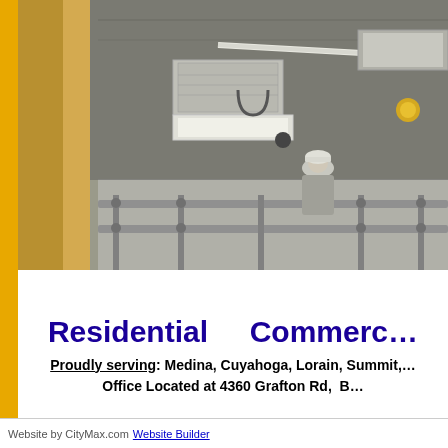[Figure (photo): Interior construction photo showing HVAC ductwork on the ceiling, a worker in a hard hat in the background, and metal scaffolding or framing in the foreground.]
Residential    Commerc...
Proudly serving: Medina, Cuyahoga, Lorain, Summit,...
Office Located at 4360 Grafton Rd,  B...
Website by CityMax.com  Website Builder